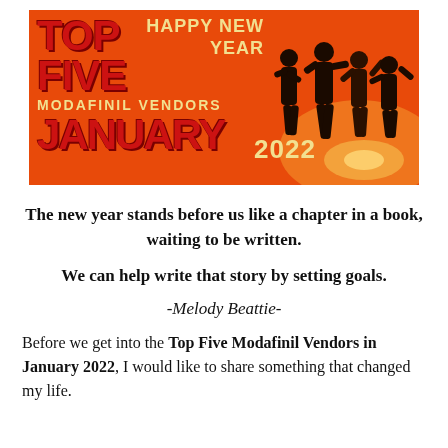[Figure (illustration): Orange banner graphic with 'TOP FIVE MODAFINIL VENDORS JANUARY 2022' text on the left in bold red letters, 'HAPPY NEW YEAR' in yellow on the upper right, '2022' in yellow, and silhouette of people celebrating on the right side against a warm orange/sunset background.]
The new year stands before us like a chapter in a book, waiting to be written.
We can help write that story by setting goals.
-Melody Beattie-
Before we get into the Top Five Modafinil Vendors in January 2022, I would like to share something that changed my life.